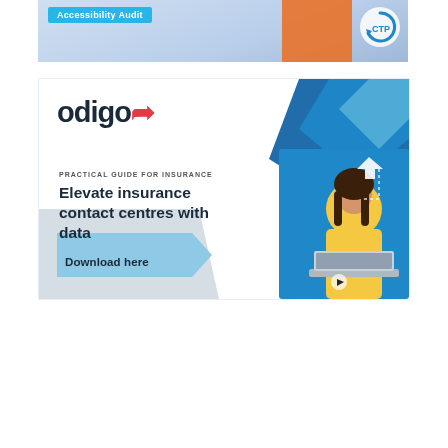[Figure (illustration): Top banner showing 'Accessibility Audit' label on teal/blue background with a person in an orange jacket and CTP logo with circular arrow icon]
[Figure (illustration): Odigo advertisement banner: white background with blue geometric polygon shapes top-right, gray shape bottom-left, blue chevron 'Download here' button, Odigo logo with red cursor icon, text 'PRACTICAL GUIDE FOR INSURANCE' and 'Elevate insurance contact centres with data', woman in yellow top working on laptop on right side]